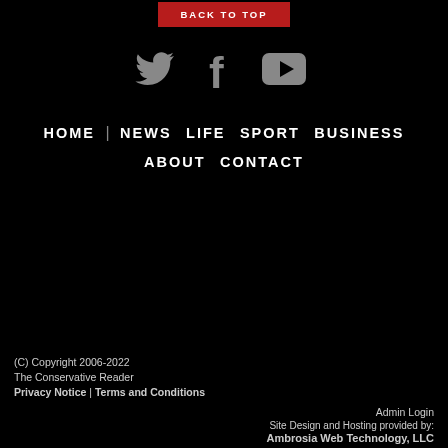BACK TO TOP
[Figure (illustration): Social media icons: Twitter bird, Facebook f, YouTube play button — gray on black background]
HOME | NEWS | LIFE | SPORT | BUSINESS | ABOUT | CONTACT
(C) Copyright 2006-2022
The Conservative Reader
Privacy Notice | Terms and Conditions
Admin Login
Site Design and Hosting provided by:
Ambrosia Web Technology, LLC